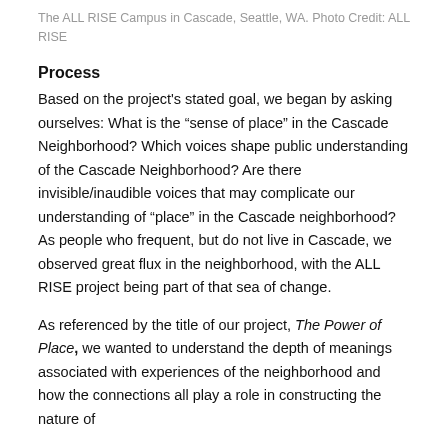The ALL RISE Campus in Cascade, Seattle, WA. Photo Credit: ALL RISE
Process
Based on the project's stated goal, we began by asking ourselves: What is the “sense of place” in the Cascade Neighborhood? Which voices shape public understanding of the Cascade Neighborhood? Are there invisible/inaudible voices that may complicate our understanding of “place” in the Cascade neighborhood? As people who frequent, but do not live in Cascade, we observed great flux in the neighborhood, with the ALL RISE project being part of that sea of change.
As referenced by the title of our project, The Power of Place, we wanted to understand the depth of meanings associated with experiences of the neighborhood and how the connections all play a role in constructing the nature of